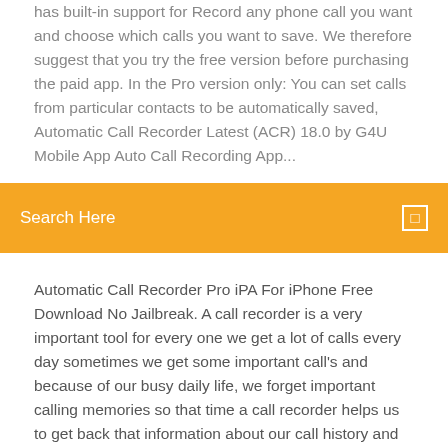has built-in support for Record any phone call you want and choose which calls you want to save. We therefore suggest that you try the free version before purchasing the paid app. In the Pro version only: You can set calls from particular contacts to be automatically saved, Automatic Call Recorder Latest (ACR) 18.0 by G4U Mobile App Auto Call Recording App...
Search Here
Automatic Call Recorder Pro iPA For iPhone Free Download No Jailbreak. A call recorder is a very important tool for every one we get a lot of calls every day sometimes we get some important call's and because of our busy daily life, we forget important calling memories so that time a call recorder helps us to get back that information about our call history and records. What is the best automatic call recording app for … Having done some personal research on this I have this to say. In my opinion